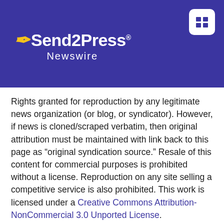Send2Press Newswire
Rights granted for reproduction by any legitimate news organization (or blog, or syndicator). However, if news is cloned/scraped verbatim, then original attribution must be maintained with link back to this page as “original syndication source.” Resale of this content for commercial purposes is prohibited without a license. Reproduction on any site selling a competitive service is also prohibited. This work is licensed under a Creative Commons Attribution-NonCommercial 3.0 Unported License.
Story Reads as of 2022-08-24 14:29:44: 2,147 views
CONNECT WITH SEND2PRESS ON SOCIAL MEDIA
[Figure (illustration): Four social media icon circles (YouTube, Facebook, Instagram, Twitter) in dark blue/purple color]